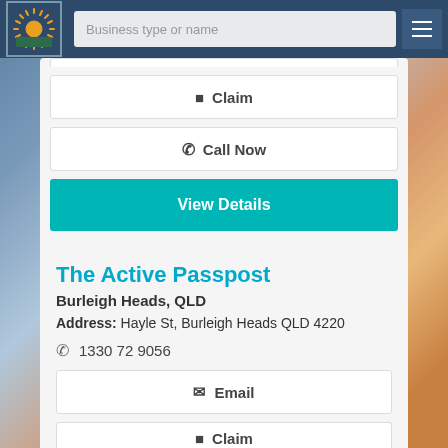Business type or name
Claim
Call Now
View Details
The Active Passpost
Burleigh Heads, QLD
Address: Hayle St, Burleigh Heads QLD 4220
1330 72 9056
Email
Claim